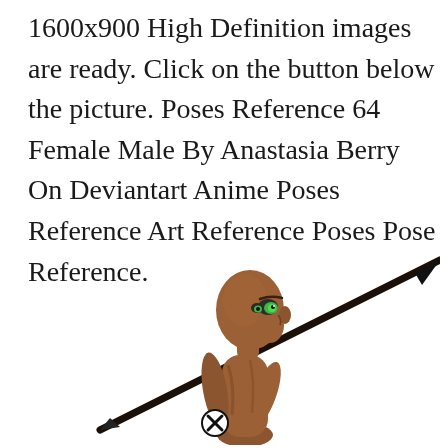1600x900 High Definition images are ready. Click on the button below the picture. Poses Reference 64 Female Male By Anastasia Berry On Deviantart Anime Poses Reference Art Reference Poses Pose Reference.
[Figure (illustration): Anime-style illustration of a dark-skinned female figure holding a spear/lance diagonally, with green eyes, bald head, viewed from behind/side. The spear extends from lower left to upper right. A small circular emblem with an X is visible near her hand.]